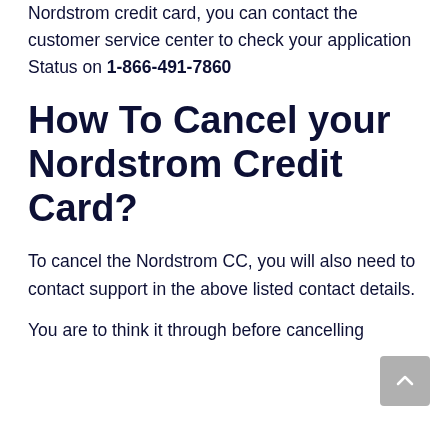For applicants who newly applied for Nordstrom credit card, you can contact the customer service center to check your application Status on 1-866-491-7860
How To Cancel your Nordstrom Credit Card?
To cancel the Nordstrom CC, you will also need to contact support in the above listed contact details.
You are to think it through before cancelling